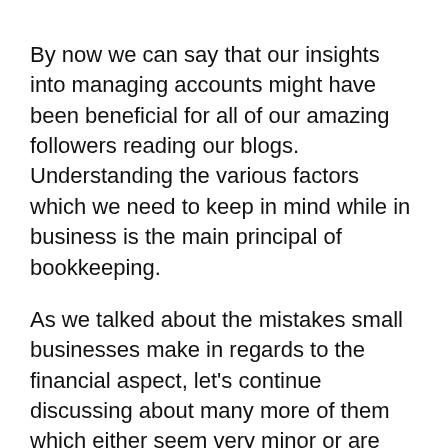By now we can say that our insights into managing accounts might have been beneficial for all of our amazing followers reading our blogs. Understanding the various factors which we need to keep in mind while in business is the main principal of bookkeeping. As we talked about the mistakes small businesses make in regards to the financial aspect, let's continue discussing about many more of them which either seem very minor or are completely neglected by many businesses! A seemingly unimportant task that many business owners want to ever focus on is saving their backup documentation of receipts for the big and small purchases in a business. Accounting is a subject which requires you to track income and expenditure at all times. It's not difficult to save every receipt the moment an expenditure is made or invoice a client once a job has been completed. Make sure that you